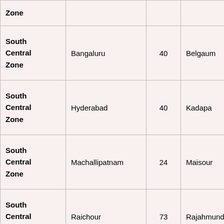| Zone |  |  |  |  |
| --- | --- | --- | --- | --- |
| South Central Zone | Bangaluru | 40 | Belgaum | 73 |
| South Central Zone | Hyderabad | 40 | Kadapa | 40 |
| South Central Zone | Machallipatnam | 24 | Maisour | 55 |
| South Central Zone | Raichour | 73 | Rajahmundry | 11 |
| South Central Zone | Udupi | 28 | Vizag | 46 |